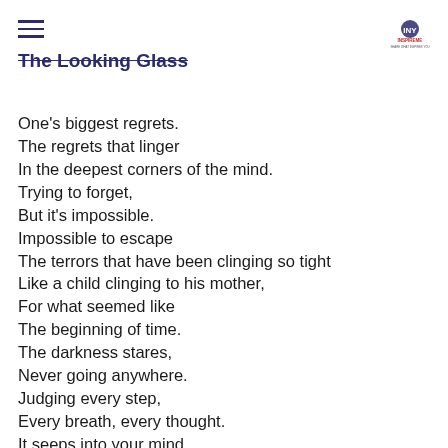The Looking Glass
The Looking Glass
One's biggest regrets.
The regrets that linger
In the deepest corners of the mind.
Trying to forget,
But it's impossible.
Impossible to escape
The terrors that have been clinging so tight
Like a child clinging to his mother,
For what seemed like
The beginning of time.
The darkness stares,
Never going anywhere.
Judging every step,
Every breath, every thought.
It seeps into your mind,
A constant reminder,